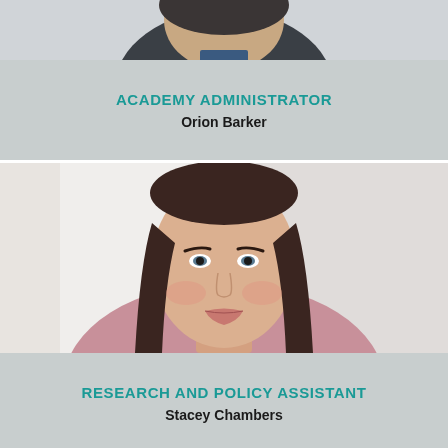[Figure (photo): Partial portrait photo of person (top of head/shoulders) with dark clothing, visible at top of page]
ACADEMY ADMINISTRATOR
Orion Barker
[Figure (photo): Portrait photo of a woman with long dark brown hair, wearing a pink/mauve top, photographed against a white door background]
RESEARCH AND POLICY ASSISTANT
Stacey Chambers
[Figure (photo): Partial portrait photo of a blonde woman, partially visible at bottom of page]